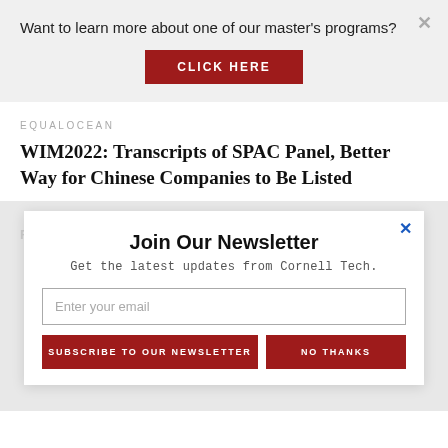Want to learn more about one of our master's programs?
CLICK HERE
EQUALOCEAN
WIM2022: Transcripts of SPAC Panel, Better Way for Chinese Companies to Be Listed
RELATED STORIES
Join Our Newsletter
Get the latest updates from Cornell Tech.
Enter your email
SUBSCRIBE TO OUR NEWSLETTER
NO THANKS